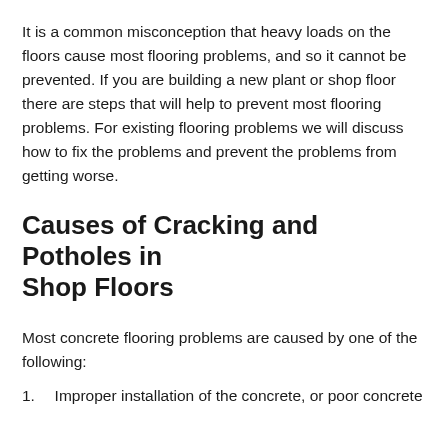It is a common misconception that heavy loads on the floors cause most flooring problems, and so it cannot be prevented. If you are building a new plant or shop floor there are steps that will help to prevent most flooring problems. For existing flooring problems we will discuss how to fix the problems and prevent the problems from getting worse.
Causes of Cracking and Potholes in Shop Floors
Most concrete flooring problems are caused by one of the following:
1.  Improper installation of the concrete, or poor concrete